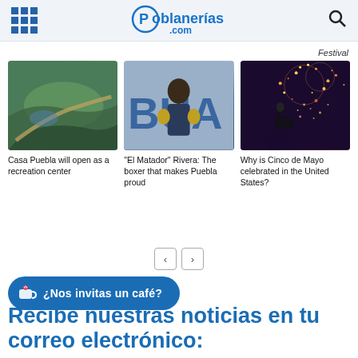Poblanerías .com
Festival
[Figure (photo): Aerial view of Casa Puebla area with green landscape and roads]
Casa Puebla will open as a recreation center
[Figure (photo): Boxer El Matador Rivera posing in front of blue BUAP letters]
"El Matador" Rivera: The boxer that makes Puebla proud
[Figure (photo): Cinco de Mayo fireworks celebration with horseman silhouette]
Why is Cinco de Mayo celebrated in the United States?
❮ ❯
☕ ¿Nos invitas un café?
Recibe nuestras noticias en tu correo electrónico: